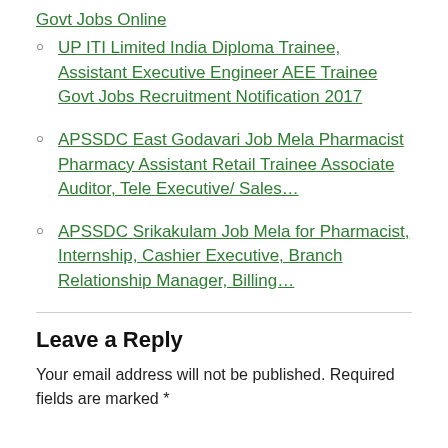Govt Jobs Online
UP ITI Limited India Diploma Trainee, Assistant Executive Engineer AEE Trainee Govt Jobs Recruitment Notification 2017
APSSDC East Godavari Job Mela Pharmacist Pharmacy Assistant Retail Trainee Associate Auditor, Tele Executive/ Sales…
APSSDC Srikakulam Job Mela for Pharmacist, Internship, Cashier Executive, Branch Relationship Manager, Billing…
Leave a Reply
Your email address will not be published. Required fields are marked *